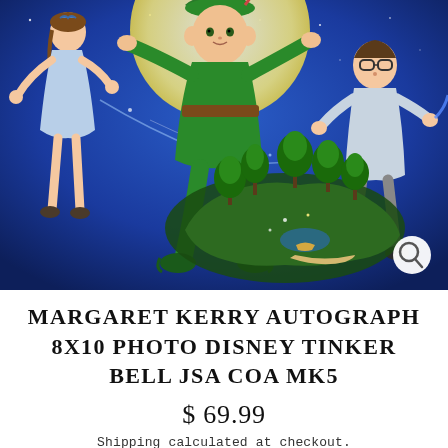[Figure (photo): Animated illustration of Peter Pan characters (Wendy on left in blue dress, Peter Pan in green in center, a boy with glasses on right) flying over Neverland island against a blue starry sky. A JSA certification sticker is visible in the lower right of the image.]
MARGARET KERRY AUTOGRAPH 8X10 PHOTO DISNEY TINKER BELL JSA COA MK5
$ 69.99
Shipping calculated at checkout.